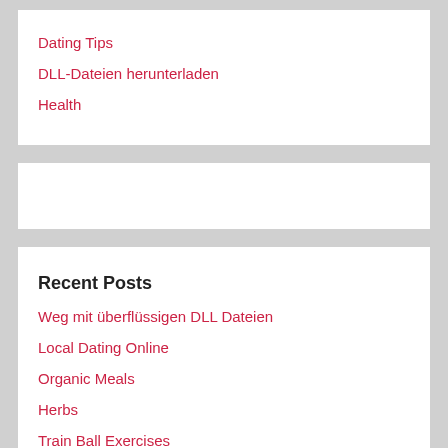Dating Tips
DLL-Dateien herunterladen
Health
Recent Posts
Weg mit überflüssigen DLL Dateien
Local Dating Online
Organic Meals
Herbs
Train Ball Exercises